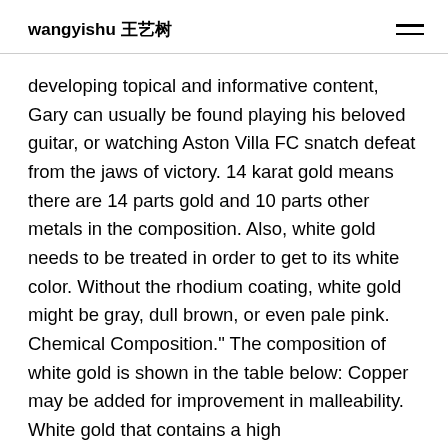wangyishu 王艺树
developing topical and informative content, Gary can usually be found playing his beloved guitar, or watching Aston Villa FC snatch defeat from the jaws of victory. 14 karat gold means there are 14 parts gold and 10 parts other metals in the composition. Also, white gold needs to be treated in order to get to its white color. Without the rhodium coating, white gold might be gray, dull brown, or even pale pink. Chemical Composition." The composition of white gold is shown in the table below: Copper may be added for improvement in malleability. White gold that contains a high